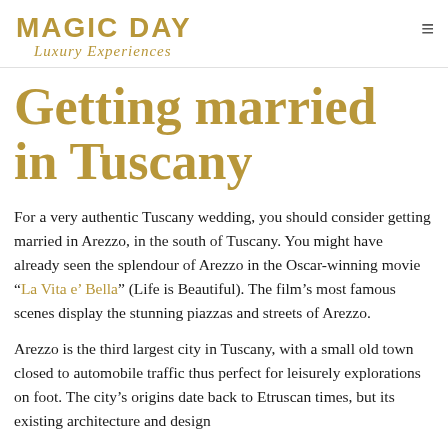MAGIC DAY Luxury Experiences
Getting married in Tuscany
For a very authentic Tuscany wedding, you should consider getting married in Arezzo, in the south of Tuscany. You might have already seen the splendour of Arezzo in the Oscar-winning movie “La Vita e’ Bella” (Life is Beautiful). The film’s most famous scenes display the stunning piazzas and streets of Arezzo.
Arezzo is the third largest city in Tuscany, with a small old town closed to automobile traffic thus perfect for leisurely explorations on foot. The city’s origins date back to Etruscan times, but its existing architecture and design